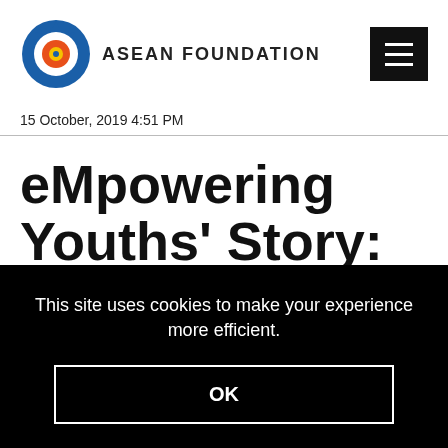[Figure (logo): ASEAN Foundation logo with blue gear/snowflake emblem and orange/red circle in the center, next to the text ASEAN FOUNDATION in bold uppercase]
15 October, 2019 4:51 PM
eMpowering Youths' Story:
This site uses cookies to make your experience more efficient.
OK